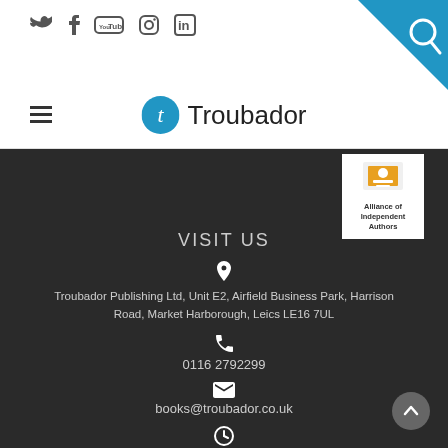[Figure (logo): Troubador Publishing logo with blue circle containing letter T and Troubador text]
[Figure (logo): Alliance of Independent Authors badge/logo with orange book icon on white background]
VISIT US
Troubador Publishing Ltd, Unit E2, Airfield Business Park, Harrison Road, Market Harborough, Leics LE16 7UL
0116 2792299
books@troubador.co.uk
Mon / Friday
08:30 - 17:00